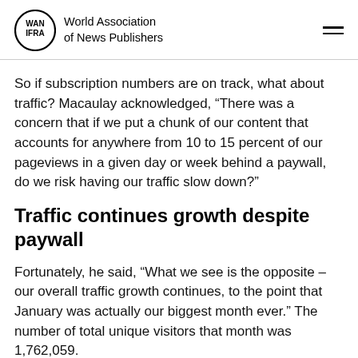World Association of News Publishers
So if subscription numbers are on track, what about traffic? Macaulay acknowledged, “There was a concern that if we put a chunk of our content that accounts for anywhere from 10 to 15 percent of our pageviews in a given day or week behind a paywall, do we risk having our traffic slow down?”
Traffic continues growth despite paywall
Fortunately, he said, “What we see is the opposite – our overall traffic growth continues, to the point that January was actually our biggest month ever.” The number of total unique visitors that month was 1,762,059.